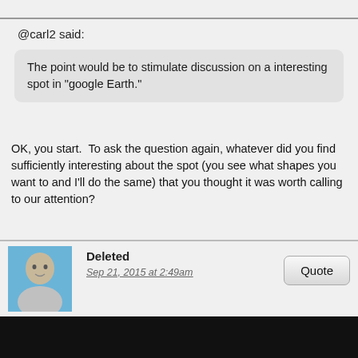@carl2 said:
The point would be to stimulate discussion on a interesting spot in "google Earth."
OK, you start.  To ask the question again, whatever did you find sufficiently interesting about the spot (you see what shapes you want to and I'll do the same) that you thought it was worth calling to our attention?
Deleted
Sep 21, 2015 at 2:49am
Quote
postimg.org/image/5q9lv2b2t/
postimg.org/image/6eige09sl/
These links to images will illustrate what I see.  There is a Hexagon like crater or dome area, it also has some sort of small peak or feature in the center.